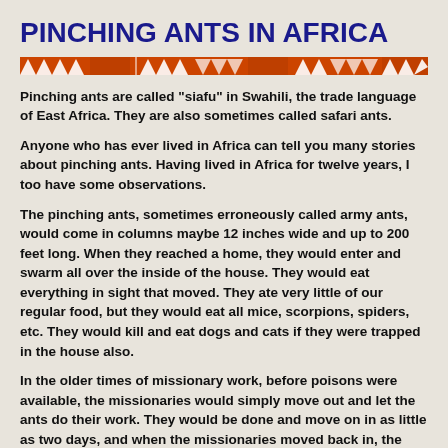PINCHING ANTS IN AFRICA
[Figure (illustration): Decorative African tribal pattern divider bar in orange/red with triangles and geometric shapes]
Pinching ants are called "siafu" in Swahili, the trade language of East Africa. They are also sometimes called safari ants.
Anyone who has ever lived in Africa can tell you many stories about pinching ants. Having lived in Africa for twelve years, I too have some observations.
The pinching ants, sometimes erroneously called army ants, would come in columns maybe 12 inches wide and up to 200 feet long. When they reached a home, they would enter and swarm all over the inside of the house. They would eat everything in sight that moved. They ate very little of our regular food, but they would eat all mice, scorpions, spiders, etc. They would kill and eat dogs and cats if they were trapped in the house also.
In the older times of missionary work, before poisons were available, the missionaries would simply move out and let the ants do their work. They would be done and move on in as little as two days, and when the missionaries moved back in, the house would be free of varmints for a long time.
We had some poisons we used to apply to the outside walls and the